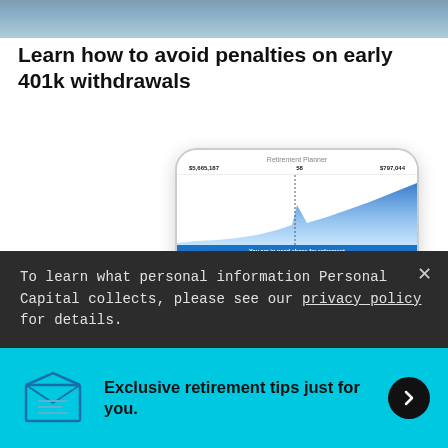[Figure (photo): Hero image showing two people, cropped at top of page]
Learn how to avoid penalties on early 401k withdrawals
[Figure (screenshot): Smartphone screenshot of Personal Capital Retirement Planner app showing an area chart of projected retirement savings growth and a list of financial events including Savings, Rental Income, Trip to Fiji, Home Purchase, and Child's Higher Education]
To learn what personal information Personal Capital collects, please see our privacy policy for details.
Exclusive retirement tips just for you.